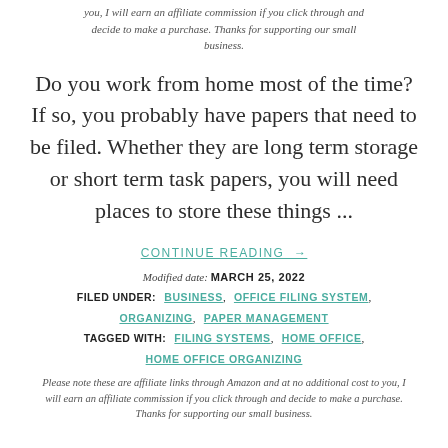you, I will earn an affiliate commission if you click through and decide to make a purchase. Thanks for supporting our small business.
Do you work from home most of the time? If so, you probably have papers that need to be filed. Whether they are long term storage or short term task papers, you will need places to store these things ...
CONTINUE READING →
Modified date: MARCH 25, 2022
FILED UNDER: BUSINESS, OFFICE FILING SYSTEM, ORGANIZING, PAPER MANAGEMENT
TAGGED WITH: FILING SYSTEMS, HOME OFFICE, HOME OFFICE ORGANIZING
Please note these are affiliate links through Amazon and at no additional cost to you, I will earn an affiliate commission if you click through and decide to make a purchase. Thanks for supporting our small business.